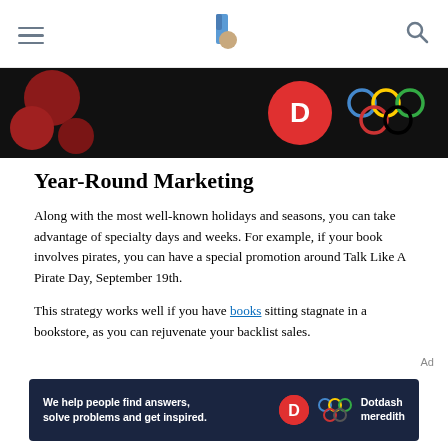[hamburger menu] [logo] [search icon]
[Figure (photo): Dark advertisement banner at top showing colorful Olympic rings and Dotdash Meredith branding on black background]
Year-Round Marketing
Along with the most well-known holidays and seasons, you can take advantage of specialty days and weeks. For example, if your book involves pirates, you can have a special promotion around Talk Like A Pirate Day, September 19th.
This strategy works well if you have books sitting stagnate in a bookstore, as you can rejuvenate your backlist sales.
Ad
[Figure (photo): Advertisement banner at bottom: 'We help people find answers, solve problems and get inspired.' with Dotdash Meredith logo on dark background]